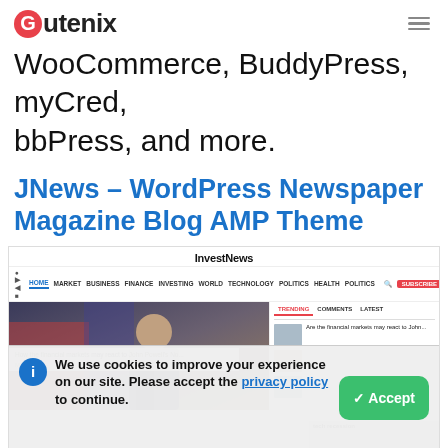Gutenix
WooCommerce, BuddyPress, myCred, bbPress, and more.
JNews – WordPress Newspaper Magazine Blog AMP Theme
[Figure (screenshot): Screenshot of InvestNews WordPress theme demo with navigation bar, main article image showing a person, sidebar with trending/comments/latest tabs, and a cookie consent banner overlay reading 'We use cookies to improve your experience on our site. Please accept the privacy policy to continue.' with a green Accept button.]